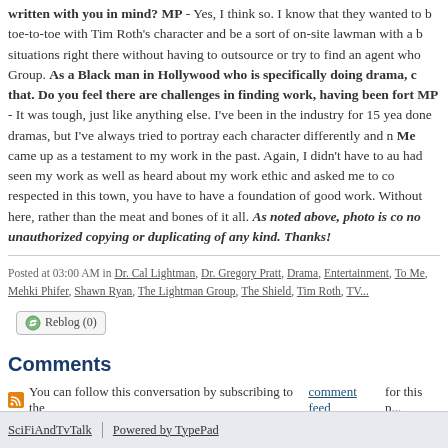written with you in mind? MP - Yes, I think so. I know that they wanted to go toe-to-toe with Tim Roth's character and be a sort of on-site lawman with a b situations right there without having to outsource or try to find an agent who Group. As a Black man in Hollywood who is specifically doing drama, c that. Do you feel there are challenges in finding work, having been fort MP - It was tough, just like anything else. I've been in the industry for 15 yea done dramas, but I've always tried to portray each character differently and n Me came up as a testament to my work in the past. Again, I didn't have to au had seen my work as well as heard about my work ethic and asked me to co respected in this town, you have to have a foundation of good work. Without here, rather than the meat and bones of it all. As noted above, photo is co no unauthorized copying or duplicating of any kind. Thanks!
Posted at 03:00 AM in Dr. Cal Lightman, Dr. Gregory Pratt, Drama, Entertainment, To Me, Mehki Phifer, Shawn Ryan, The Lightman Group, The Shield, Tim Roth, TV...
Reblog (0)
Comments
You can follow this conversation by subscribing to the comment feed for this p...
The comments to this entry are closed.
SciFiAndTvTalk | Powered by TypePad